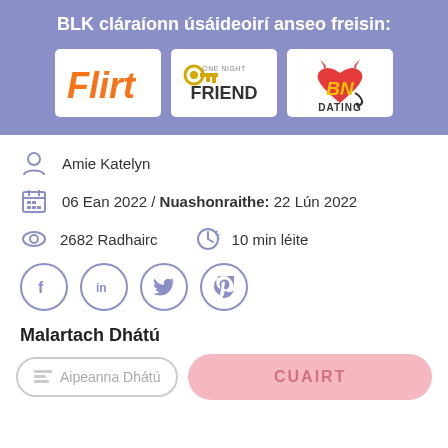BLK cláraíonn úsáideoirí anseo freisin:
[Figure (logo): Three partner brand logos: Flirt, OneNightFriend, BN Dating]
Amie Katelyn
06 Ean 2022 / Nuashonraithe: 22 Lún 2022
2682 Radhairc    10 min léite
Facebook, LinkedIn, Twitter, Pinterest social share icons
Malartach Dhátú
Aipeanna Dhátú    CUAIRT